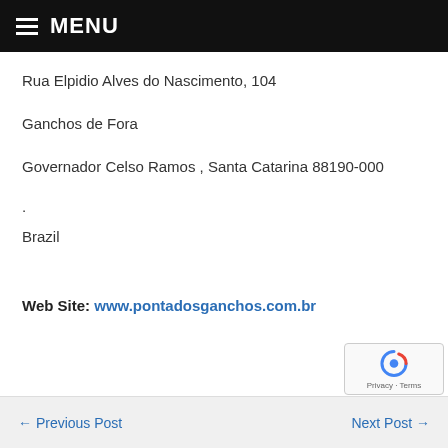MENU
Rua Elpidio Alves do Nascimento, 104
Ganchos de Fora
Governador Celso Ramos , Santa Catarina 88190-000
Brazil
Web Site: www.pontadosganchos.com.br
← Previous Post    Next Post →